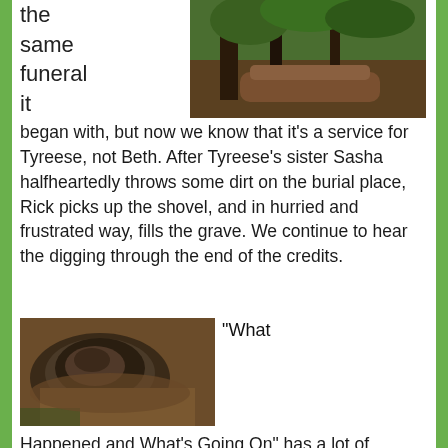the same funeral it
[Figure (photo): Outdoor scene with trees and dirt mound, appearing to be a burial site]
began with, but now we know that it’s a service for Tyreese, not Beth. After Tyreese’s sister Sasha halfheartedly throws some dirt on the burial place, Rick picks up the shovel, and in hurried and frustrated way, fills the grave. We continue to hear the digging through the end of the credits.
[Figure (photo): Close-up of a deceased bearded man lying on the ground, appearing to be a scene from a TV show]
“What
Happened and What’s Going On” has a lot of beautiful